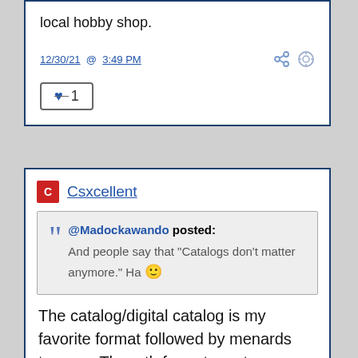local hobby shop.
12/30/21 @ 3:49 PM
♥ 1
Csxcellent
@Madockawando posted: And people say that "Catalogs don't matter anymore." Ha 🙂
The catalog/digital catalog is my favorite format followed by menards teasers. The mth format creates no suspense.
12/30/21 @ 3:57 PM